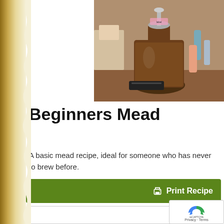[Figure (photo): A glass fermentation jug containing brown liquid (mead), with an airlock on top, sitting on a wooden table surrounded by various household items and bottles.]
Beginners Mead
A basic mead recipe, ideal for someone who has never to brew before.
Print Recipe
Pin Recipe